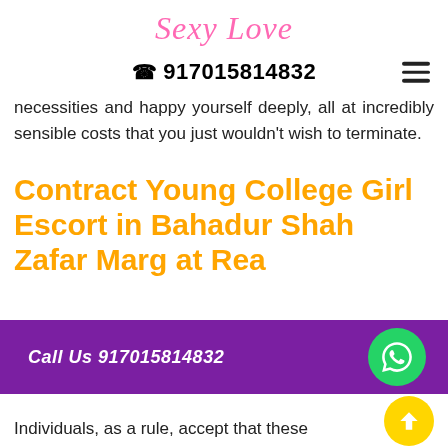Sexy Love
☎ 917015814832
necessities and happy yourself deeply, all at incredibly sensible costs that you just wouldn't wish to terminate.
Contract Young College Girl Escort in Bahadur Shah Zafar Marg at Rea
[Figure (other): Purple call-to-action banner with text 'Call Us 917015814832' and a green WhatsApp icon button, plus a yellow up-arrow button]
Individuals, as a rule, accept that these